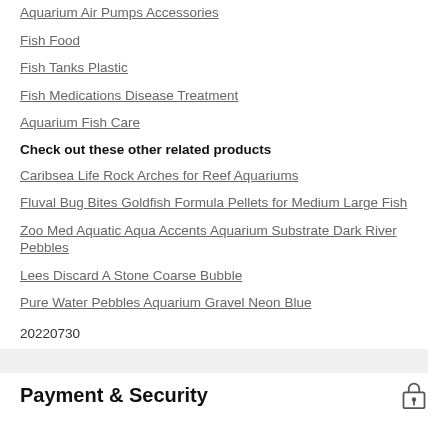Aquarium Air Pumps Accessories
Fish Food
Fish Tanks Plastic
Fish Medications Disease Treatment
Aquarium Fish Care
Check out these other related products
Caribsea Life Rock Arches for Reef Aquariums
Fluval Bug Bites Goldfish Formula Pellets for Medium Large Fish
Zoo Med Aquatic Aqua Accents Aquarium Substrate Dark River Pebbles
Lees Discard A Stone Coarse Bubble
Pure Water Pebbles Aquarium Gravel Neon Blue
20220730
Payment & Security